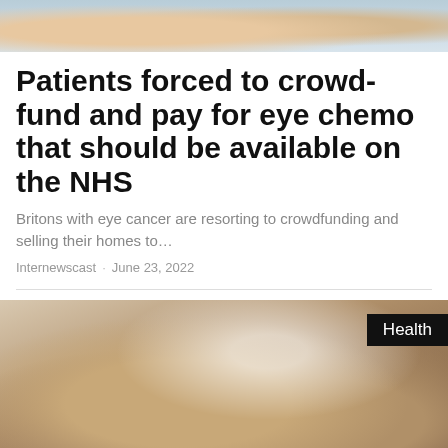[Figure (photo): Top portion of a photo showing people, cropped to show upper body/faces area with blue/neutral tones]
Patients forced to crowd-fund and pay for eye chemo that should be available on the NHS
Britons with eye cancer are resorting to crowdfunding and selling their homes to…
Internewscast · June 23, 2022
[Figure (photo): Close-up photo of a person using a vaping device, exhaling smoke/vapor, with a 'Health' label badge in the top right corner]